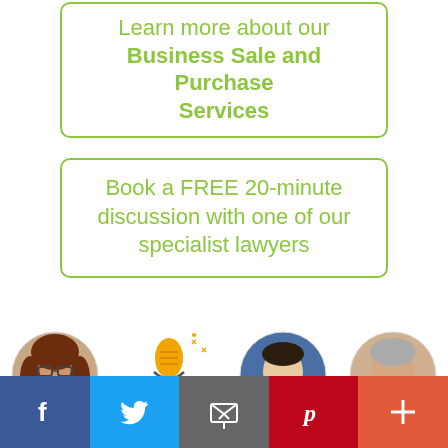Learn more about our Business Sale and Purchase Services
Book a FREE 20-minute discussion with one of our specialist lawyers
[Figure (photo): Podcast episode graphic with four circular profile photos: Joanna Oakey, a podcast microphone logo for The Deal Room EP 138, Zoran Sarabaca, and Paul Prowse]
[Figure (infographic): Social share bar with Facebook, Twitter, Email, Pinterest, and More buttons]